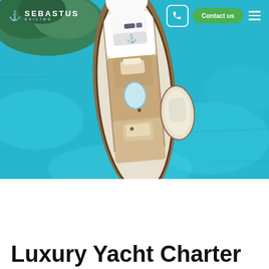SEBASTUS SAILING — Contact us
[Figure (photo): Aerial top-down view of a large luxury motor yacht floating on turquoise blue water, with island rocky coastline visible in the upper left corner]
Luxury Yacht Charter